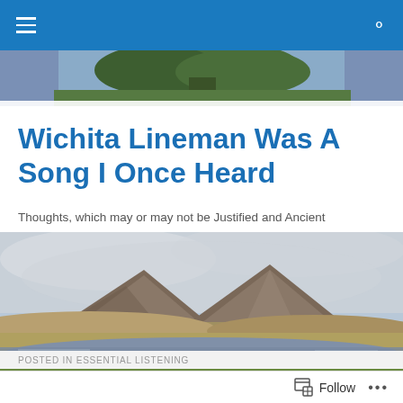Navigation bar with hamburger menu and search icon
[Figure (photo): Banner strip showing top of trees against a blue-purple sky, partially visible beneath the navigation bar]
Wichita Lineman Was A Song I Once Heard
Thoughts, which may or may not be Justified and Ancient
[Figure (photo): Landscape photograph of Scottish highlands with two rounded hills/mountains in the background, a loch or river in the middle ground, brown moorland grasses, and green grass in the foreground under a cloudy sky]
POSTED IN ESSENTIAL LISTENING
Follow  ···